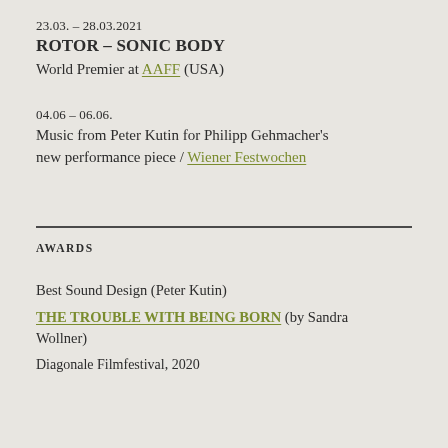23.03. – 28.03.2021
ROTOR – SONIC BODY
World Premier at AAFF (USA)
04.06 – 06.06.
Music from Peter Kutin for Philipp Gehmacher's new performance piece / Wiener Festwochen
AWARDS
Best Sound Design (Peter Kutin)
THE TROUBLE WITH BEING BORN (by Sandra Wollner)
Diagonale Filmfestival, 2020